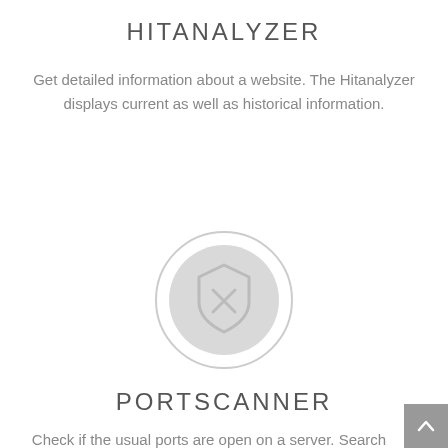HITANALYZER
Get detailed information about a website. The Hitanalyzer displays current as well as historical information.
[Figure (illustration): A circular icon with a light gray background containing a shield icon with an X mark, indicating a security/block symbol.]
PORTSCANNER
Check if the usual ports are open on a server. Search for a domain or an IP number.